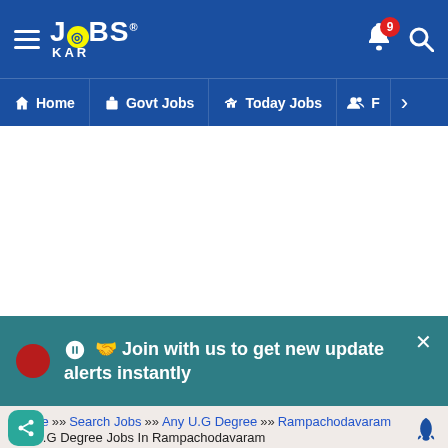[Figure (screenshot): JobsKar app header with hamburger menu, logo, bell notification icon with badge 9, and search icon on blue background]
Home   Govt Jobs   Today Jobs   F
[Figure (infographic): White advertisement/content area]
Join with us to get new update alerts instantly
Home >> Search Jobs >> Any U.G Degree >> Rampachodavaram >> U.G Degree Jobs In Rampachodavaram